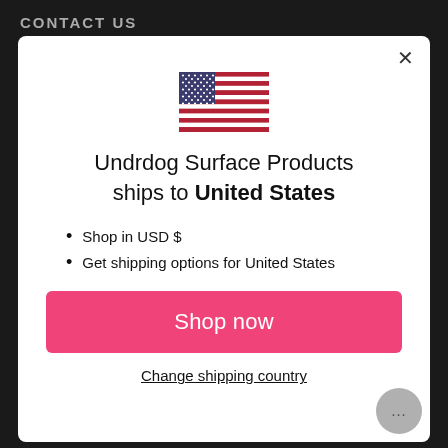CONTACT US
[Figure (illustration): US flag emoji/icon centered in modal]
Undrdog Surface Products ships to United States
Shop in USD $
Get shipping options for United States
Shop now
Change shipping country